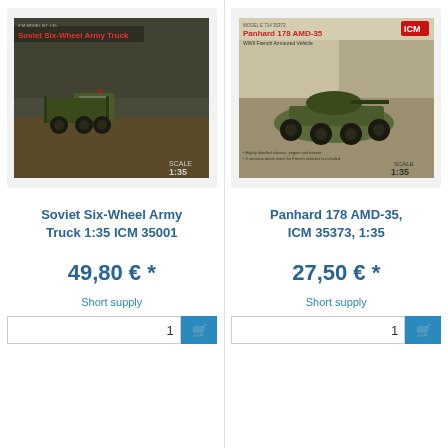[Figure (photo): Soviet Six-Wheel Army Truck 1:35 ICM model kit box art showing green military truck]
[Figure (photo): Panhard 178 AMD-35 ICM 35373 1:35 model kit box art showing French armoured vehicle]
Soviet Six-Wheel Army Truck 1:35 ICM 35001
Panhard 178 AMD-35, ICM 35373, 1:35
49,80 € *
27,50 € *
Short supply
Short supply